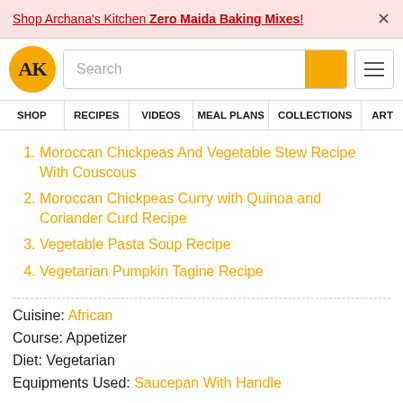Shop Archana's Kitchen Zero Maida Baking Mixes!
[Figure (logo): Archana's Kitchen logo - AK in gold circle with search bar and hamburger menu]
SHOP | RECIPES | VIDEOS | MEAL PLANS | COLLECTIONS | ART
Moroccan Chickpeas And Vegetable Stew Recipe With Couscous
Moroccan Chickpeas Curry with Quinoa and Coriander Curd Recipe
Vegetable Pasta Soup Recipe
Vegetarian Pumpkin Tagine Recipe
Cuisine: African
Course: Appetizer
Diet: Vegetarian
Equipments Used: Saucepan With Handle